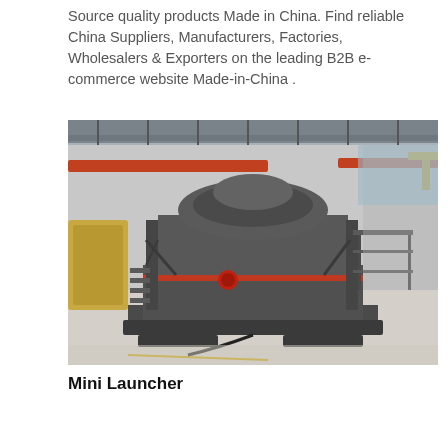Source quality products Made in China. Find reliable China Suppliers, Manufacturers, Factories, Wholesalers & Exporters on the leading B2B e-commerce website Made-in-China .
[Figure (photo): Industrial photo of a large grey heavy-duty vertical shaft impact crusher machine inside a manufacturing factory hall with orange overhead crane beams, yellow crane, and other machinery visible in the background.]
Mini Launcher